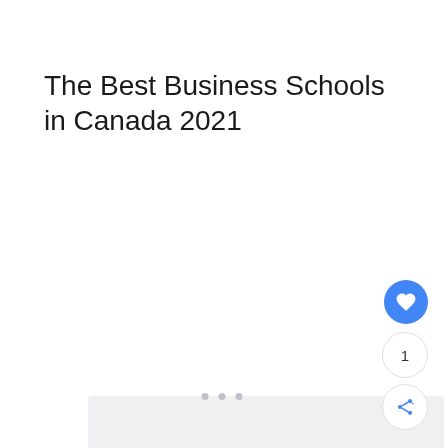The Best Business Schools in Canada 2021
[Figure (other): A placeholder/loading image area with light gray background and three dot pagination indicators at the bottom center. Social interaction buttons on the right: a blue heart/like button, a count showing '1', and a share button.]